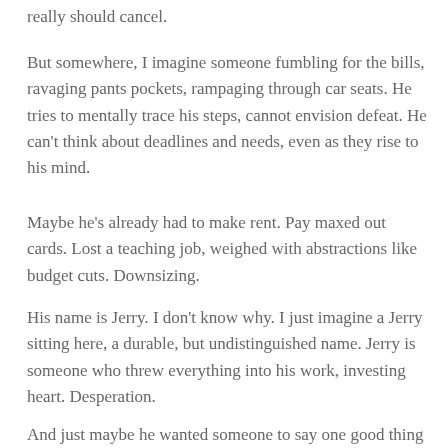really should cancel.
But somewhere, I imagine someone fumbling for the bills, ravaging pants pockets, rampaging through car seats. He tries to mentally trace his steps, cannot envision defeat. He can't think about deadlines and needs, even as they rise to his mind.
Maybe he's already had to make rent. Pay maxed out cards. Lost a teaching job, weighed with abstractions like budget cuts. Downsizing.
His name is Jerry. I don't know why. I just imagine a Jerry sitting here, a durable, but undistinguished name. Jerry is someone who threw everything into his work, investing heart. Desperation.
And just maybe he wanted someone to say one good thing